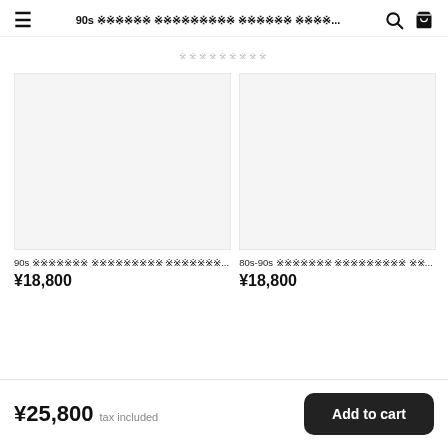90s 󾓫󾓫󾓫󾓫󾓫󾓫 󾓫󾓫󾓫󾓫󾓫󾓫󾓫󾓫󾓫 󾓫󾓫󾓫󾓫󾓫󾓫 󾓫󾓫󾓫󾓫...
󾓫󾓫󾓫󾓫󾓫󾓫󾓫󾓫󾓫
90s 󾓫󾓫󾓫󾓫󾓫󾓫󾓫 󾓫󾓫󾓫󾓫󾓫󾓫󾓫󾓫󾓫 󾓫󾓫󾓫󾓫󾓫󾓫󾓫... ¥18,800
80s-90s 󾓫󾓫󾓫󾓫󾓫󾓫󾓫 󾓫󾓫󾓫󾓫󾓫󾓫󾓫󾓫󾓫 󾓫󾓫... ¥18,800
¥25,800 tax included
Add to cart